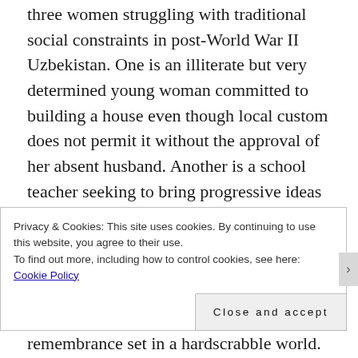three women struggling with traditional social constraints in post-World War II Uzbekistan. One is an illiterate but very determined young woman committed to building a house even though local custom does not permit it without the approval of her absent husband. Another is a school teacher seeking to bring progressive ideas to a village long subjugated by strict old-fashioned practices. The last is an elderly woman who was kidnapped by a poor peasant in her youth and forced into marriage. A dreamy and impressionistic remembrance set in a hardscrabble world. Khamraev's Triptych is an underseen achievement
Privacy & Cookies: This site uses cookies. By continuing to use this website, you agree to their use.
To find out more, including how to control cookies, see here: Cookie Policy
Close and accept